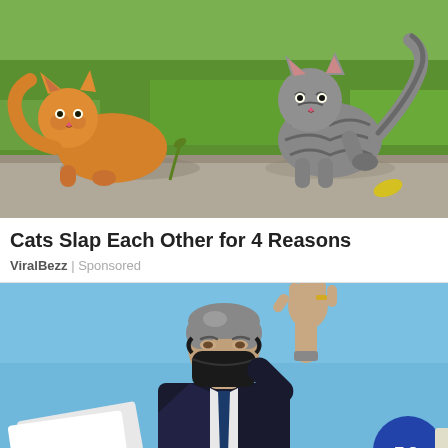[Figure (photo): Two cats facing each other on a paved surface with green grass in the background. An orange tabby cat on the left appears to be swatting at a grey striped tabby cat on the right which is rearing up.]
Cats Slap Each Other for 4 Reasons
ViralBezz | Sponsored
[Figure (photo): A man wearing a black face mask and dark suit waves with his right hand raised. He appears to be at a public event against a blue sky background. A partially visible badge or sign reads 'T O' at the bottom right.]